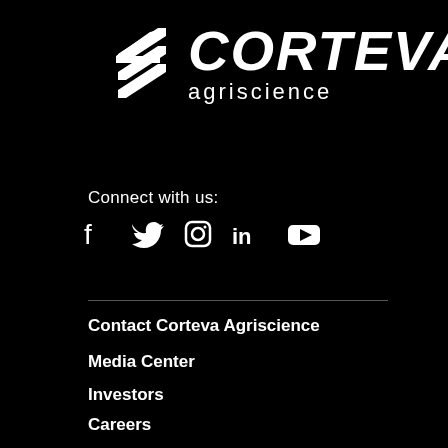[Figure (logo): Corteva Agriscience logo — white leaf/arrow icon on black background with CORTEVA in bold italic and agriscience in regular text below]
Connect with us:
[Figure (infographic): Social media icons: Facebook, Twitter, Instagram, LinkedIn, YouTube — all white on black]
Contact Corteva Agriscience
Media Center
Investors
Careers
Accessibility